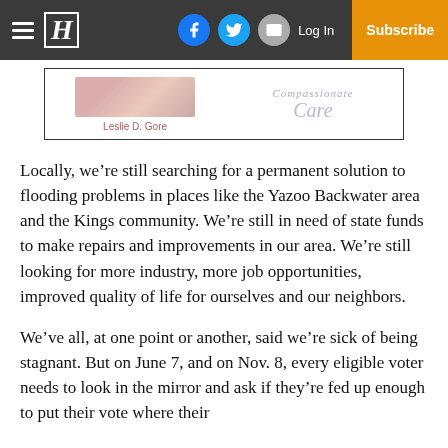≡ H | [facebook] [twitter] [mail] | Log In | Subscribe
[Figure (other): Advertisement banner with image of Leslie D. Gore and text 'Compassionate Care']
Locally, we're still searching for a permanent solution to flooding problems in places like the Yazoo Backwater area and the Kings community. We're still in need of state funds to make repairs and improvements in our area. We're still looking for more industry, more job opportunities, improved quality of life for ourselves and our neighbors.
We've all, at one point or another, said we're sick of being stagnant. But on June 7, and on Nov. 8, every eligible voter needs to look in the mirror and ask if they're fed up enough to put their vote where their